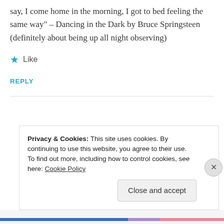say, I come home in the morning, I got to bed feeling the same way" – Dancing in the Dark by Bruce Springsteen (definitely about being up all night observing)
★ Like
REPLY
Privacy & Cookies: This site uses cookies. By continuing to use this website, you agree to their use. To find out more, including how to control cookies, see here: Cookie Policy
Close and accept